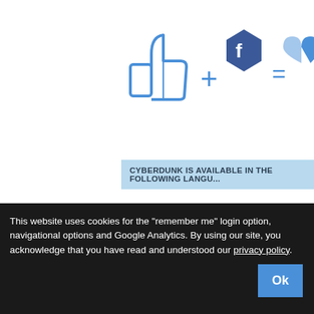[Figure (illustration): Thumbs up icon + Facebook hexagon logo + equals sign + heart icon in blue]
CYBERDUNK IS AVAILABLE IN THE FOLLOWING LANGUAGES
Bosnian
Bulgarian
Chinese ( Simplified )
Chinese ( Traditional )
Cro...
English ( Original )
Estonian
Filipino
French
Ge...
Hungarian
Indonesian
Italian
Korean
La...
Portuguese
Romanian
Russian
Serbian
Sp...
This website uses cookies for the "remember me" login option, navigational options and Google Analytics. By using our site, you acknowledge that you have read and understood our privacy policy.